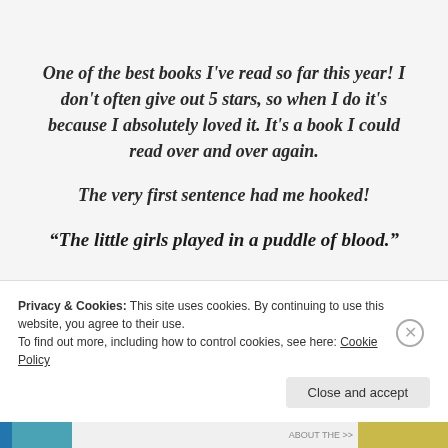One of the best books I've read so far this year! I don't often give out 5 stars, so when I do it's because I absolutely loved it. It's a book I could read over and over again.
The very first sentence had me hooked!
“The little girls played in a puddle of blood.”
Privacy & Cookies: This site uses cookies. By continuing to use this website, you agree to their use.
To find out more, including how to control cookies, see here: Cookie Policy
Close and accept